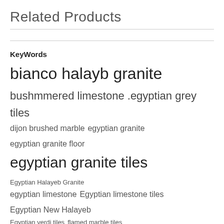Related Products
KeyWords
bianco halayb granite
bushmmered limestone .egyptian grey tiles
dijon brushed marble  egyptian granite  egyptian granite floor
egyptian granite tiles  Egyptian Halayeb Granite
egyptian limestone  Egyptian limestone tiles  Egyptian New Halayeb
Egyptian verdi tiles  flamed marble tiles  Galala Beige Marble
Galala Marble From Egypt  Granite  Granite Countertops
Granite Flooring Tiles  Granite Floor Price  Granite Floor Tiles
Granite From Egypt